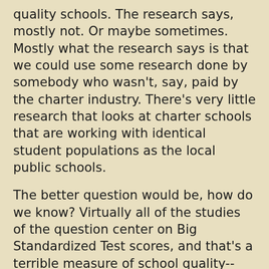quality schools. The research says, mostly not. Or maybe sometimes. Mostly what the research says is that we could use some research done by somebody who wasn't, say, paid by the charter industry. There's very little research that looks at charter schools that are working with identical student populations as the local public schools.
The better question would be, how do we know? Virtually all of the studies of the question center on Big Standardized Test scores, and that's a terrible measure of school quality--especially when we're focusing on social justice. Privileged kids don't get their privilege by scoring well on BS Tests, and nobody ever escaped poverty by getting really good at taking standardized tests. I don't notice any ivy league schools saying, "We're looking to reach out to some non-white non-wealthy students with good PARCC scores."
The focus on testing in US education has been toxic in the extreme, and the people who have the wealth and privilege to make educational choices for kids choose to move their kids to schools where nobody worries about the PARCC. Conversely, when folks are talking about how terrible a